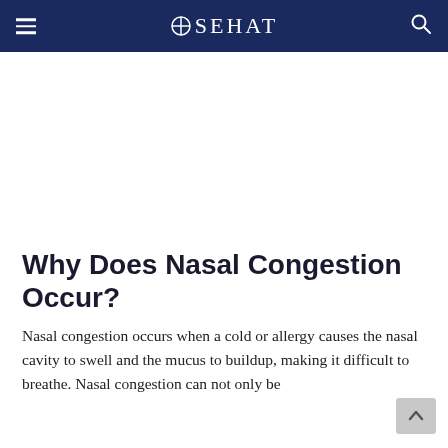⊕SEHAT
[Figure (other): Advertisement/blank white space area]
Why Does Nasal Congestion Occur?
Nasal congestion occurs when a cold or allergy causes the nasal cavity to swell and the mucus to buildup, making it difficult to breathe. Nasal congestion can not only be